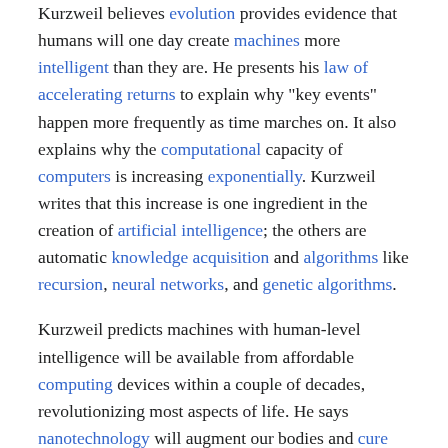Kurzweil believes evolution provides evidence that humans will one day create machines more intelligent than they are. He presents his law of accelerating returns to explain why "key events" happen more frequently as time marches on. It also explains why the computational capacity of computers is increasing exponentially. Kurzweil writes that this increase is one ingredient in the creation of artificial intelligence; the others are automatic knowledge acquisition and algorithms like recursion, neural networks, and genetic algorithms.
Kurzweil predicts machines with human-level intelligence will be available from affordable computing devices within a couple of decades, revolutionizing most aspects of life. He says nanotechnology will augment our bodies and cure cancer even as humans connect to computers via direct neural interfaces or live full-time in virtual reality. Kurzweil predicts the machines "will appear to have their own free